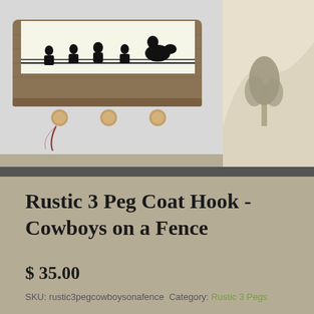[Figure (photo): A rustic wooden coat hook rack with 3 round wooden peg hooks, mounted on weathered barnwood, with a silhouette image of cowboys on a fence across the top. Photographed hanging on a white wall.]
Rustic 3 Peg Coat Hook - Cowboys on a Fence
$ 35.00
SKU: rustic3pegcowboysonafence  Category: Rustic 3 Pegs